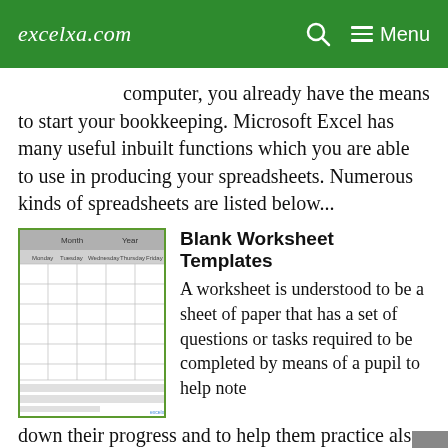excelxa.com  🔍  Menu
computer, you already have the means to start your bookkeeping. Microsoft Excel has many useful inbuilt functions which you are able to use in producing your spreadsheets. Numerous kinds of spreadsheets are listed below...
[Figure (screenshot): Thumbnail image of a blank worksheet template showing a grid with header row and columns for Monday through Friday]
Blank Worksheet Templates
A worksheet is understood to be a sheet of paper that has a set of questions or tasks required to be completed by means of a pupil to help note down their progress and to help them practice also. A good and beneficial worksheet contains